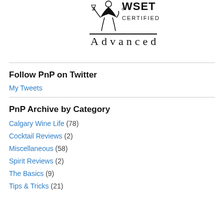[Figure (logo): WSET Certified Advanced logo with a figure holding a wine glass, text reads WSET CERTIFIED Advanced]
Follow PnP on Twitter
My Tweets
PnP Archive by Category
Calgary Wine Life (78)
Cocktail Reviews (2)
Miscellaneous (58)
Spirit Reviews (2)
The Basics (9)
Tips & Tricks (21)